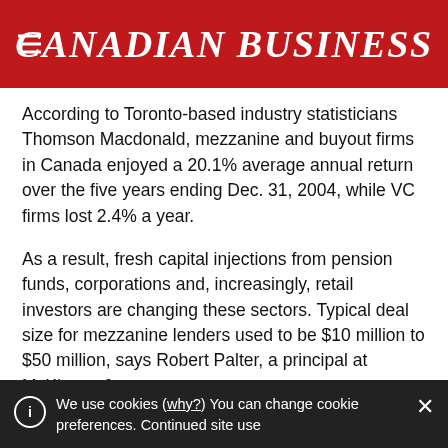CANADIAN BUSINESS
According to Toronto-based industry statisticians Thomson Macdonald, mezzanine and buyout firms in Canada enjoyed a 20.1% average annual return over the five years ending Dec. 31, 2004, while VC firms lost 2.4% a year.
As a result, fresh capital injections from pension funds, corporations and, increasingly, retail investors are changing these sectors. Typical deal size for mezzanine lenders used to be $10 million to $50 million, says Robert Palter, a principal at McKinsey &
We use cookies (why?) You can change cookie preferences. Continued site use